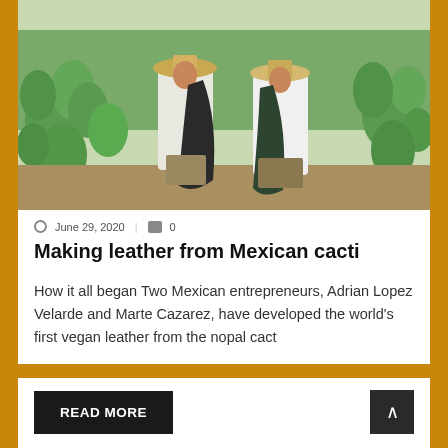[Figure (photo): Two men in straw hats holding up sheets of dark green vegan leather made from cactus, standing in a field of nopal cacti.]
June 29, 2020  |  0
Making leather from Mexican cacti
How it all began Two Mexican entrepreneurs, Adrian Lopez Velarde and Marte Cazarez, have developed the world's first vegan leather from the nopal cact
READ MORE